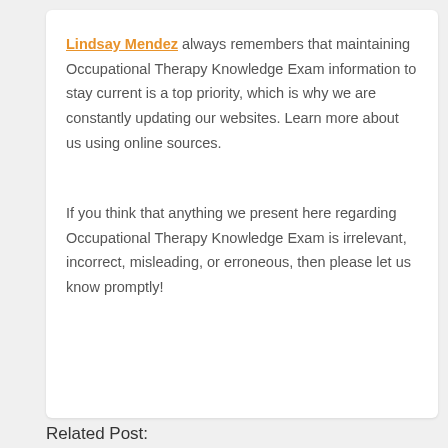Lindsay Mendez always remembers that maintaining Occupational Therapy Knowledge Exam information to stay current is a top priority, which is why we are constantly updating our websites. Learn more about us using online sources.
If you think that anything we present here regarding Occupational Therapy Knowledge Exam is irrelevant, incorrect, misleading, or erroneous, then please let us know promptly!
Related Post: